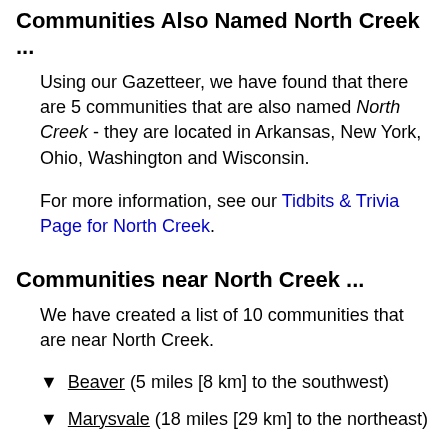Communities Also Named North Creek ...
Using our Gazetteer, we have found that there are 5 communities that are also named North Creek - they are located in Arkansas, New York, Ohio, Washington and Wisconsin.
For more information, see our Tidbits & Trivia Page for North Creek.
Communities near North Creek ...
We have created a list of 10 communities that are near North Creek.
Beaver (5 miles [8 km] to the southwest)
Marysvale (18 miles [29 km] to the northeast)
Adamsville (12 miles [19.3 km] to the southwest)
Kimberly (14 miles [22.5 km] to